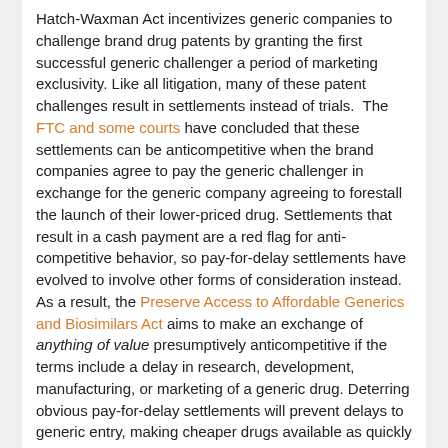Hatch-Waxman Act incentivizes generic companies to challenge brand drug patents by granting the first successful generic challenger a period of marketing exclusivity. Like all litigation, many of these patent challenges result in settlements instead of trials. The FTC and some courts have concluded that these settlements can be anticompetitive when the brand companies agree to pay the generic challenger in exchange for the generic company agreeing to forestall the launch of their lower-priced drug. Settlements that result in a cash payment are a red flag for anti-competitive behavior, so pay-for-delay settlements have evolved to involve other forms of consideration instead. As a result, the Preserve Access to Affordable Generics and Biosimilars Act aims to make an exchange of anything of value presumptively anticompetitive if the terms include a delay in research, development, manufacturing, or marketing of a generic drug. Deterring obvious pay-for-delay settlements will prevent delays to generic entry, making cheaper drugs available as quickly as possible to patients.
However, the Act's rigid presumption that an exchange of anything of value is presumptively anticompetitive may also prevent legitimate settlements that ultimately benefit consumers. Brand drug makers should be allowed to compensate generic challengers to eliminate litigation risk and